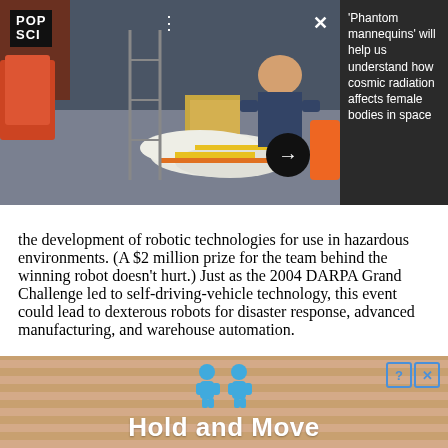[Figure (photo): Screenshot of a PopSci article page showing a photo of a person working with white mannequin-like forms in an industrial/lab setting, alongside a dark sidebar with article headline about phantom mannequins and cosmic radiation]
the development of robotic technologies for use in hazardous environments. (A $2 million prize for the team behind the winning robot doesn't hurt.) Just as the 2004 DARPA Grand Challenge led to self-driving-vehicle technology, this event could lead to dexterous robots for disaster response, advanced manufacturing, and warehouse automation.
[Figure (screenshot): Bottom advertisement banner with cartoon figures and text 'Hold and Move' on a striped background]